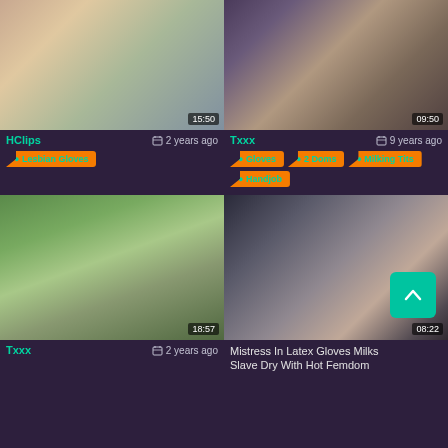[Figure (screenshot): Video thumbnail grid showing adult content website with 4 video thumbnails, tags, source names and timestamps]
HClips
2 years ago
Txxx
9 years ago
Lesbian Gloves
Gloves
2 Doms
Milking Tits
Handjob
Txxx
2 years ago
Mistress In Latex Gloves Milks Slave Dry With Hot Femdom